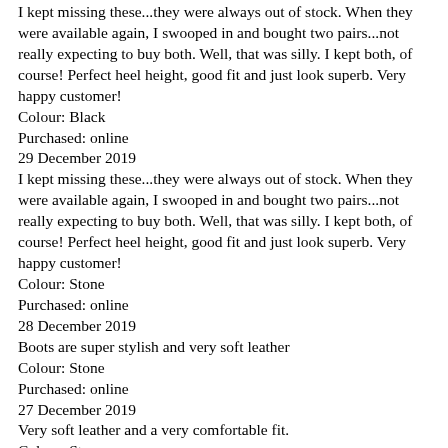I kept missing these...they were always out of stock. When they were available again, I swooped in and bought two pairs...not really expecting to buy both. Well, that was silly. I kept both, of course! Perfect heel height, good fit and just look superb. Very happy customer!
Colour: Black
Purchased: online
29 December 2019
I kept missing these...they were always out of stock. When they were available again, I swooped in and bought two pairs...not really expecting to buy both. Well, that was silly. I kept both, of course! Perfect heel height, good fit and just look superb. Very happy customer!
Colour: Stone
Purchased: online
28 December 2019
Boots are super stylish and very soft leather
Colour: Stone
Purchased: online
27 December 2019
Very soft leather and a very comfortable fit.
Colour: Stone
Purchased: online
27 December 2019
Gorgeous, soft as butter leather. Fabulous fit, glorious 😊
Colour: Sto...